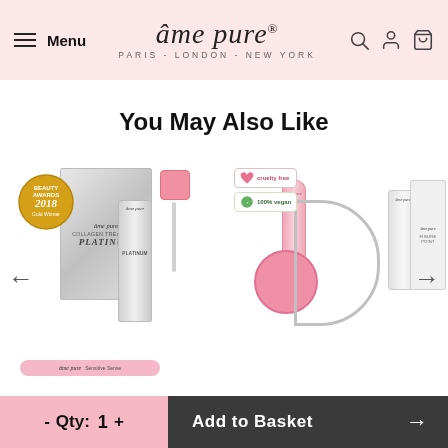âme pure® — PARIS - LONDON - NEW YORK
You May Also Like
[Figure (photo): Product carousel showing âme pure skincare and beauty products including Platinum serum, derma roller, and other items. Navigation arrows on left and right.]
- Qty: 1 + Add to Basket →